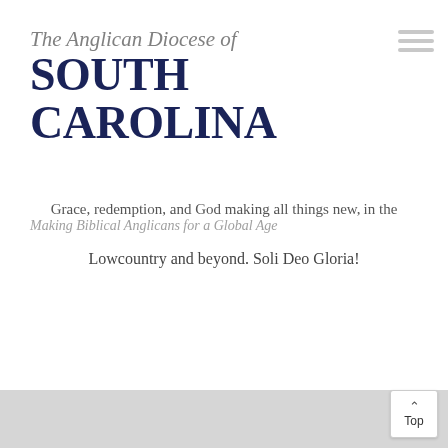The Anglican Diocese of SOUTH CAROLINA
Grace, redemption, and God making all things new, in the
Making Biblical Anglicans for a Global Age
Lowcountry and beyond. Soli Deo Gloria!
[Figure (other): Hamburger menu icon (three horizontal lines) in top right corner]
Top